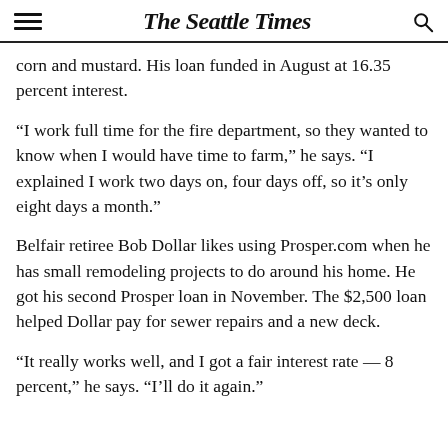The Seattle Times
corn and mustard. His loan funded in August at 16.35 percent interest.
“I work full time for the fire department, so they wanted to know when I would have time to farm,” he says. “I explained I work two days on, four days off, so it’s only eight days a month.”
Belfair retiree Bob Dollar likes using Prosper.com when he has small remodeling projects to do around his home. He got his second Prosper loan in November. The $2,500 loan helped Dollar pay for sewer repairs and a new deck.
“It really works well, and I got a fair interest rate — 8 percent,” he says. “I’ll do it again.”